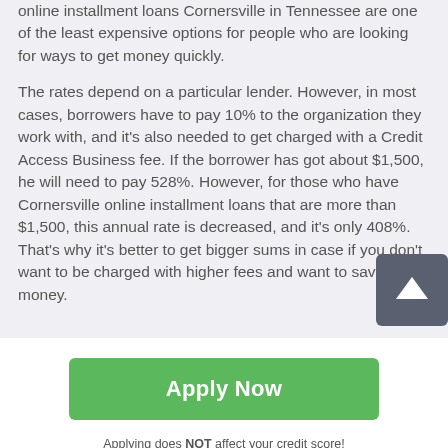online installment loans Cornersville in Tennessee are one of the least expensive options for people who are looking for ways to get money quickly.
The rates depend on a particular lender. However, in most cases, borrowers have to pay 10% to the organization they work with, and it's also needed to get charged with a Credit Access Business fee. If the borrower has got about $1,500, he will need to pay 528%. However, for those who have Cornersville online installment loans that are more than $1,500, this annual rate is decreased, and it's only 408%. That's why it's better to get bigger sums in case if you don't want to be charged with higher fees and want to save money.
[Figure (other): Scroll to top button with upward arrow icon]
Apply Now
Applying does NOT affect your credit score!
No credit check to apply.